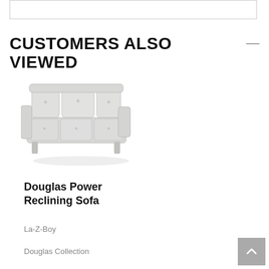[Figure (other): Top white box with border (partial UI element)]
CUSTOMERS ALSO VIEWED
[Figure (photo): Light gray power reclining sofa, three-seater with tufted back, shown from a slight angle]
Douglas Power Reclining Sofa
La-Z-Boy
Douglas Collection